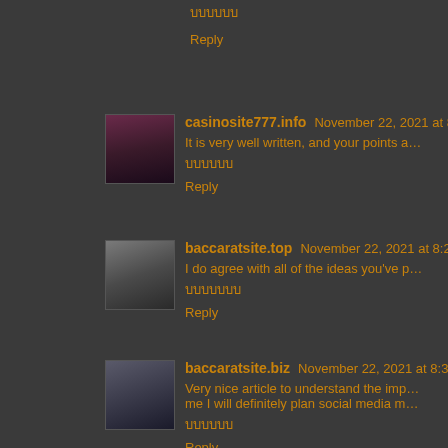บบบบบบ
Reply
casinosite777.info  November 22, 2021 at 8:11 PM
It is very well written, and your points are well-expressed. I re
บบบบบบ
Reply
baccaratsite.top  November 22, 2021 at 8:21 PM
I do agree with all of the ideas you've presented in your post.
บบบบบบบ
Reply
baccaratsite.biz  November 22, 2021 at 8:30 PM
Very nice article to understand the importance of social med... me I will definitely plan social media marketing strategy for m
บบบบบบ
Reply